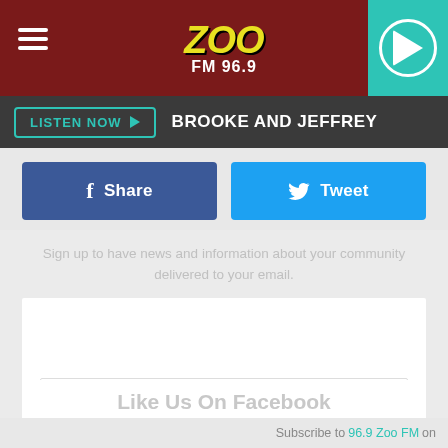[Figure (logo): Zoo FM 96.9 radio station header with dark red background, hamburger menu on left, ZOO FM 96.9 logo in center, teal play button on right]
LISTEN NOW ▶  BROOKE AND JEFFREY
Share
Tweet
Sign up to have news and information about your community delivered to your email.
Email Address
Like Us On Facebook
Subscribe to 96.9 Zoo FM on